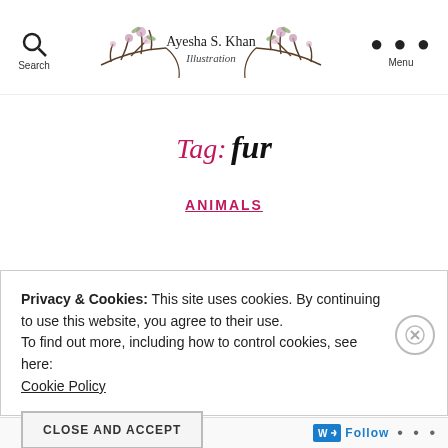Ayesha S. Khan Illustration — Search / Menu header
Tag: fur
ANIMALS
Privacy & Cookies: This site uses cookies. By continuing to use this website, you agree to their use.
To find out more, including how to control cookies, see here:
Cookie Policy
CLOSE AND ACCEPT